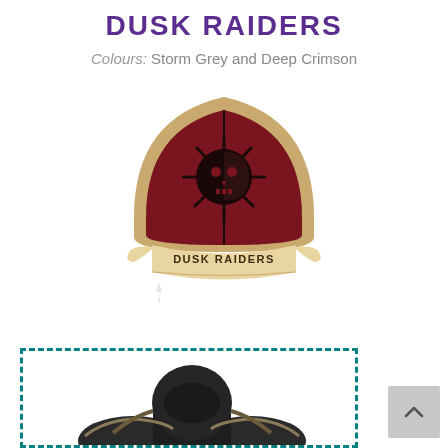DUSK RAIDERS
Colours: Storm Grey and Deep Crimson
[Figure (illustration): Dusk Raiders Space Marine chapter badge — a dark crimson arch-shaped shoulder pad with a half-skull/sun symbol, mounted on a tan scroll banner reading 'DUSK RAIDERS']
[Figure (photo): Partially visible Warhammer 40k Space Marine miniature figure in dark armor, shown from shoulders up, inside a teal dashed border box]